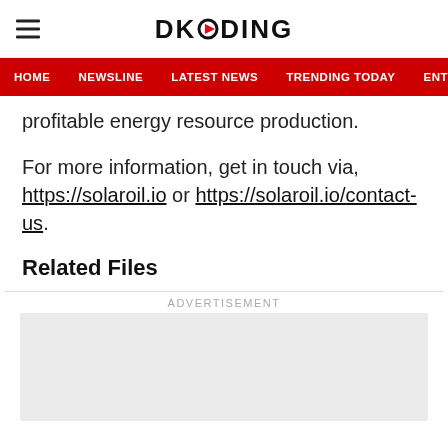DKODING
HOME  NEWSLINE  LATEST NEWS  TRENDING TODAY  ENT
profitable energy resource production.
For more information, get in touch via, https://solaroil.io or https://solaroil.io/contact-us.
Related Files
ADVERTISEMENT